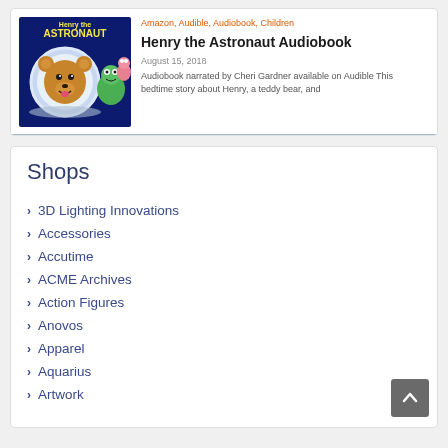[Figure (illustration): Book cover for 'Henry the Astronaut' showing a cartoon teddy bear in an astronaut helmet in space, with colorful characters]
Amazon, Audible, Audiobook, Children
Henry the Astronaut Audiobook
August 15, 2018
Audiobook narrated by Cheri Gardner available on Audible This bedtime story about Henry, a teddy bear, and...
Shops
3D Lighting Innovations
Accessories
Accutime
ACME Archives
Action Figures
Anovos
Apparel
Aquarius
Artwork